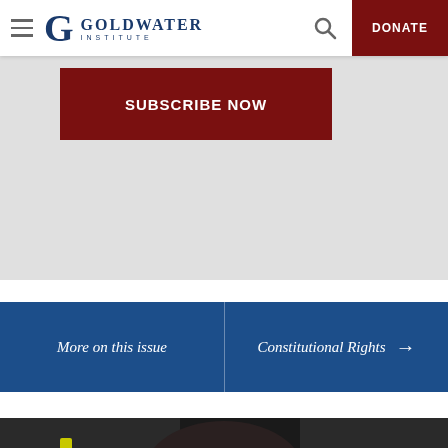Goldwater Institute — Navigation bar with hamburger menu, logo, search icon, and DONATE button
[Figure (screenshot): Subscribe Now button on gray background]
[Figure (screenshot): Blue navigation banner: More on this issue | Constitutional Rights →]
[Figure (photo): Young child wearing firefighter helmet numbered 34, smiling, in firefighter gear]